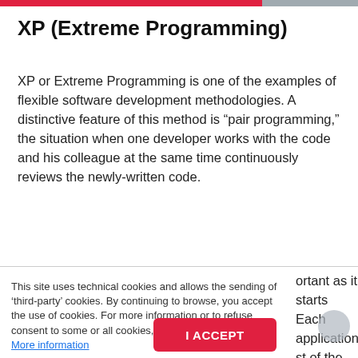XP (Extreme Programming)
XP or Extreme Programming is one of the examples of flexible software development methodologies. A distinctive feature of this method is “pair programming,” the situation when one developer works with the code and his colleague at the same time continuously reviews the newly-written code.
This site uses technical cookies and allows the sending of ‘third-party’ cookies. By continuing to browse, you accept the use of cookies. For more information or to refuse consent to some or all cookies, see the dedicated section More information
ortant as it starts Each application st of the errors another e code and not f the code can all the tests are ejected. ies are constant